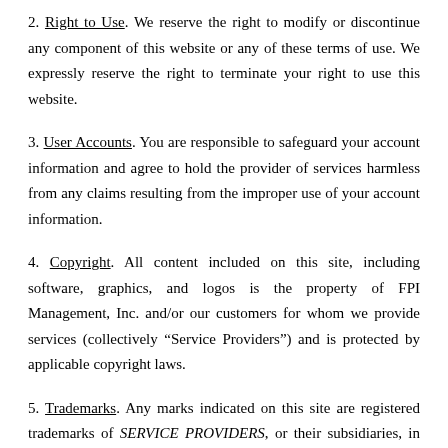2. Right to Use. We reserve the right to modify or discontinue any component of this website or any of these terms of use. We expressly reserve the right to terminate your right to use this website.
3. User Accounts. You are responsible to safeguard your account information and agree to hold the provider of services harmless from any claims resulting from the improper use of your account information.
4. Copyright. All content included on this site, including software, graphics, and logos is the property of FPI Management, Inc. and/or our customers for whom we provide services (collectively “Service Providers”) and is protected by applicable copyright laws.
5. Trademarks. Any marks indicated on this site are registered trademarks of SERVICE PROVIDERS, or their subsidiaries, in the United States. These trademarks may not be used in connection with any product or service that are